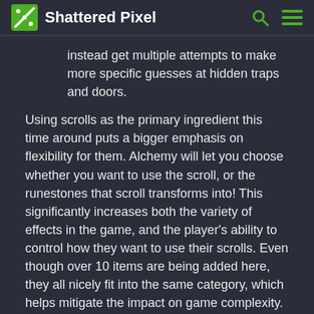Shattered Pixel
instead get multiple attempts to make more specific guesses at hidden traps and doors.
Using scrolls as the primary ingredient this time around puts a bigger emphasis on flexibility for them. Alchemy will let you choose whether you want to use the scroll, or the runestones that scroll transforms into! This significantly increases both the variety of effects in the game, and the player's ability to control how they want to use their scrolls. Even though over 10 items are being added here, they all nicely fit into the same category, which helps mitigate the impact on game complexity.
With runestones being added to the mix, the alchemy system is becoming increasingly complex and varied. Most importantly, runestones show that alchemy doesn't need to be limited to goods. This is a great start, but it's